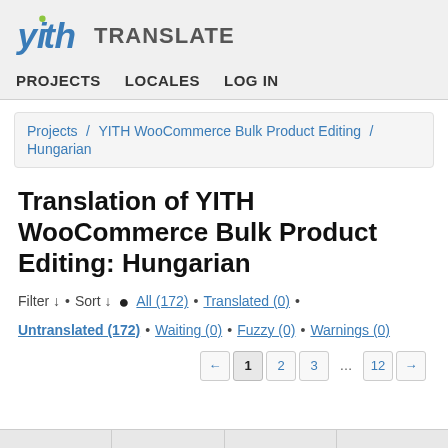yith TRANSLATE — PROJECTS LOCALES LOG IN
Projects / YITH WooCommerce Bulk Product Editing / Hungarian
Translation of YITH WooCommerce Bulk Product Editing: Hungarian
Filter ↓ • Sort ↓ ● All (172) • Translated (0) •
Untranslated (172) • Waiting (0) • Fuzzy (0) • Warnings (0)
← 1 2 3 … 12 →